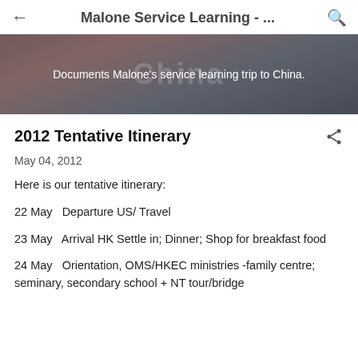← Malone Service Learning - ... 🔍
[Figure (photo): Banner image with a twilight/dusk landscape background (mountains and sky in purple-brown tones). Text reads: 'Documents Malone's service learning trip to China.']
2012 Tentative Itinerary
May 04, 2012
Here is our tentative itinerary:
22 May   Departure US/ Travel
23 May   Arrival HK Settle in; Dinner; Shop for breakfast food
24 May   Orientation, OMS/HKEC ministries -family centre; seminary, secondary school + NT tour/bridge